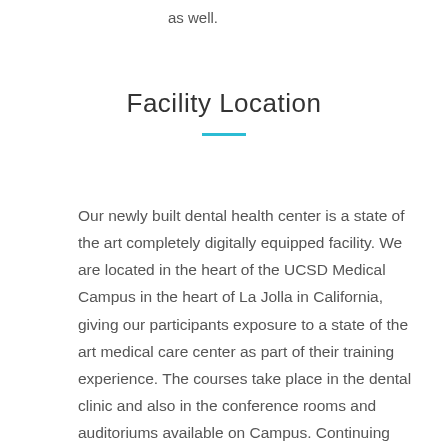as well.
Facility Location
Our newly built dental health center is a state of the art completely digitally equipped facility. We are located in the heart of the UCSD Medical Campus in the heart of La Jolla in California, giving our participants exposure to a state of the art medical care center as part of their training experience. The courses take place in the dental clinic and also in the conference rooms and auditoriums available on Campus. Continuing Education Credits are earned for all participants